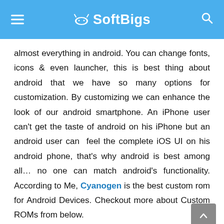SoftBigs
almost everything in android. You can change fonts, icons & even launcher, this is best thing about android that we have so many options for customization. By customizing we can enhance the look of our android smartphone. An iPhone user can't get the taste of android on his iPhone but an android user can  feel the complete iOS UI on his android phone, that's why android is best among all… no one can match android's functionality. According to Me, Cyanogen is the best custom rom for Android Devices. Checkout more about Custom ROMs from below.
Why We Should Install Custom ROM in